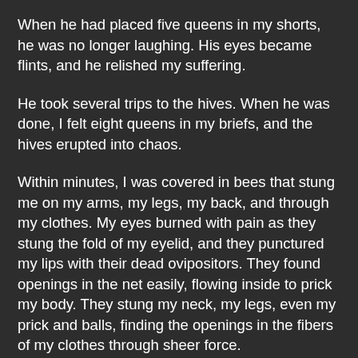When he had placed five queens in my shorts, he was no longer laughing. His eyes became flints, and he relished my suffering.
He took several trips to the hives. When he was done, I felt eight queens in my briefs, and the hives erupted into chaos.
Within minutes, I was covered in bees that stung me on my arms, my legs, my back, and through my clothes. My eyes burned with pain as they stung the fold of my eyelid, and they punctured my lips with their dead ovipositors. They found openings in the net easily, flowing inside to prick my body. They stung my neck, my legs, even my prick and balls, finding the openings in the fibers of my clothes through sheer force.
The screams that I made came from the deepest part of my diaphragm. This was my worst nightmare come to life.
I had dreamt of being netted for many years, craving the fantasy of control and bondage, but I had never thought it